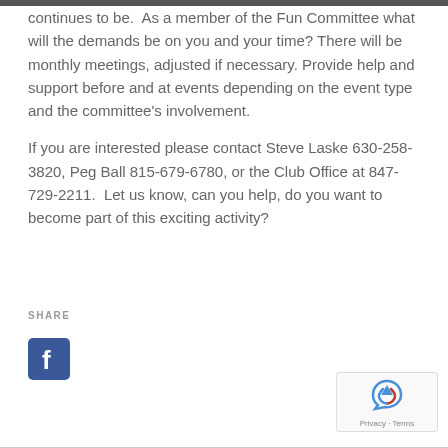continues to be.  As a member of the Fun Committee what will the demands be on you and your time? There will be monthly meetings, adjusted if necessary. Provide help and support before and at events depending on the event type and the committee's involvement.
If you are interested please contact Steve Laske 630-258-3820, Peg Ball 815-679-6780, or the Club Office at 847-729-2211.  Let us know, can you help, do you want to become part of this exciting activity?
SHARE
[Figure (logo): Facebook logo icon - blue square with white 'f']
[Figure (logo): reCAPTCHA widget with Privacy - Terms text]